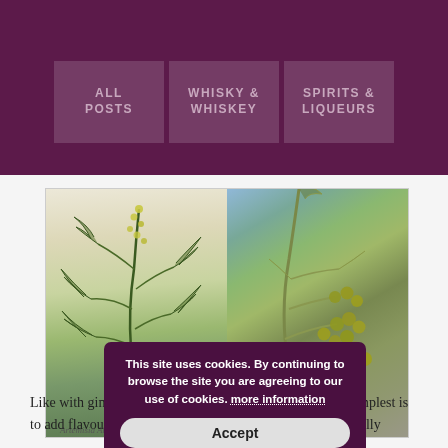ALL POSTS | WHISKY & WHISKEY | SPIRITS & LIQUEURS
[Figure (photo): Left: botanical illustration of Artemesia Absinthium (grand wormwood) showing stem, leaves, flowers and roots. Right: close-up photograph of Artemisia absinthium plant with green berry-like flower buds on branches against blue sky background.]
Artemesia Absinthium – grand wormwood (partially obscured by cookie banner)
This site uses cookies. By continuing to browse the site you are agreeing to our use of cookies. more information
Like with gin, there are different ways of making it. The simplest is to add flavourings and colour to neutral spirit, which generally